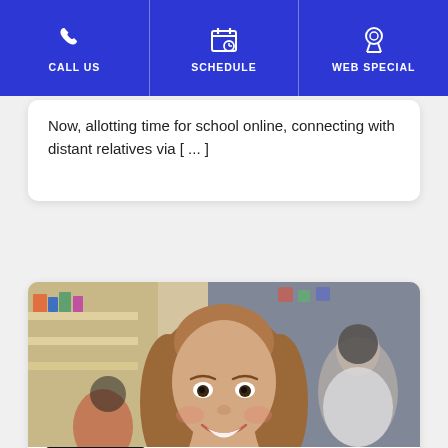CALL US | SCHEDULE | WEB SPECIAL
Now, allotting time for school online, connecting with distant relatives via [...]
[Figure (photo): Smiling young girl with long brown hair in a classroom setting, other children blurred in background]
PARENTING
Is Your Child Ready for School?